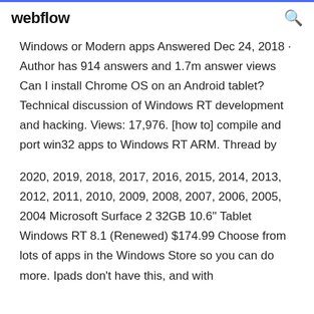webflow
Windows or Modern apps Answered Dec 24, 2018 · Author has 914 answers and 1.7m answer views Can I install Chrome OS on an Android tablet? Technical discussion of Windows RT development and hacking. Views: 17,976. [how to] compile and port win32 apps to Windows RT ARM. Thread by
2020, 2019, 2018, 2017, 2016, 2015, 2014, 2013, 2012, 2011, 2010, 2009, 2008, 2007, 2006, 2005, 2004 Microsoft Surface 2 32GB 10.6" Tablet Windows RT 8.1 (Renewed) $174.99 Choose from lots of apps in the Windows Store so you can do more. Ipads don't have this, and with